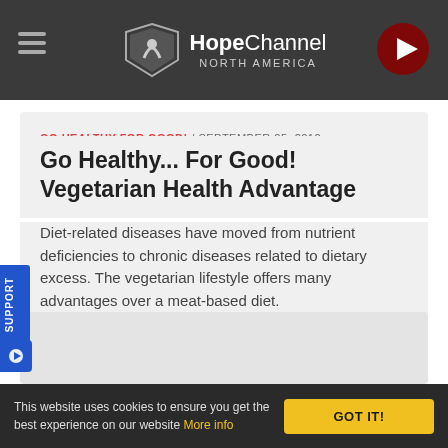HopeChannel NORTH AMERICA
GO HEALTHY FOR GOOD! / SEPTEMBER 25, 2012
Go Healthy... For Good! Vegetarian Health Advantage
Diet-related diseases have moved from nutrient deficiencies to chronic diseases related to dietary excess. The vegetarian lifestyle offers many advantages over a meat-based diet.
This website uses cookies to ensure you get the best experience on our website More info GOT IT!